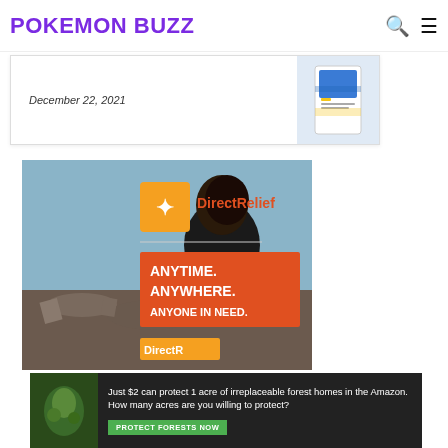POKEMON BUZZ
December 22, 2021
[Figure (photo): Direct Relief advertisement: person in black Direct Relief shirt seen from behind, looking at disaster scene. Text overlay reads 'ANYTIME. ANYWHERE. ANYONE IN NEED.' with DirectRelief logo.]
[Figure (photo): Banner advertisement: 'Just $2 can protect 1 acre of irreplaceable forest homes in the Amazon. How many acres are you willing to protect?' with PROTECT FORESTS NOW button.]